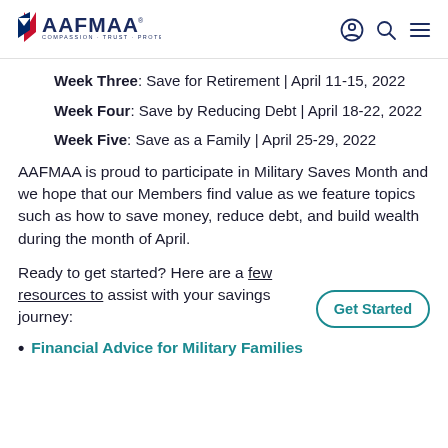AAFMAA — COMPASSION · TRUST · PROTECTION
Week Three: Save for Retirement | April 11-15, 2022
Week Four: Save by Reducing Debt | April 18-22, 2022
Week Five: Save as a Family | April 25-29, 2022
AAFMAA is proud to participate in Military Saves Month and we hope that our Members find value as we feature topics such as how to save money, reduce debt, and build wealth during the month of April.
Ready to get started? Here are a few resources to assist with your savings journey:
Financial Advice for Military Families